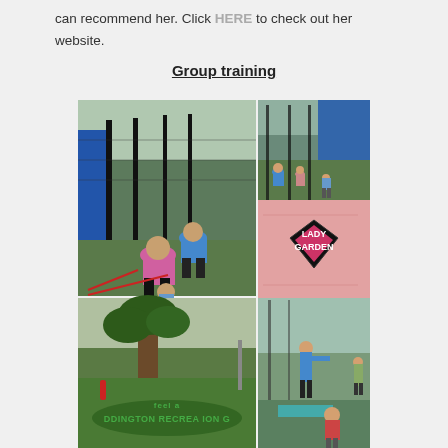can recommend her. Click HERE to check out her website.
Group training
[Figure (photo): Collage of four group training photos: top-left shows people doing suspension/resistance band exercises at an outdoor sports court with blue fencing; top-right top shows a wider view of the same outdoor court with people exercising; top-right bottom shows a close-up of a pink shirt with 'Lady Garden' logo; bottom-left shows a park sign reading 'Paddington Recreation Ground'; bottom-right shows a person standing at an outdoor court with a child.]